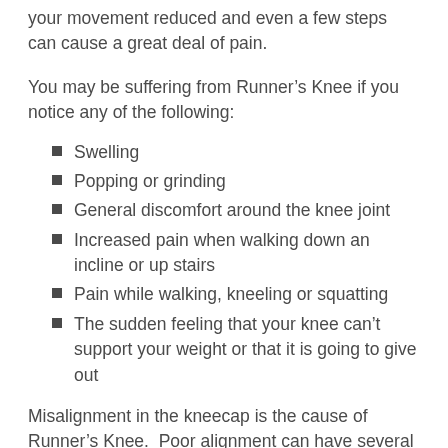your movement reduced and even a few steps can cause a great deal of pain.
You may be suffering from Runner’s Knee if you notice any of the following:
Swelling
Popping or grinding
General discomfort around the knee joint
Increased pain when walking down an incline or up stairs
Pain while walking, kneeling or squatting
The sudden feeling that your knee can’t support your weight or that it is going to give out
Misalignment in the kneecap is the cause of Runner’s Knee.  Poor alignment can have several causes.  Since there are several different causes it is important to have an evaluation by a qualified chiropractic doctor